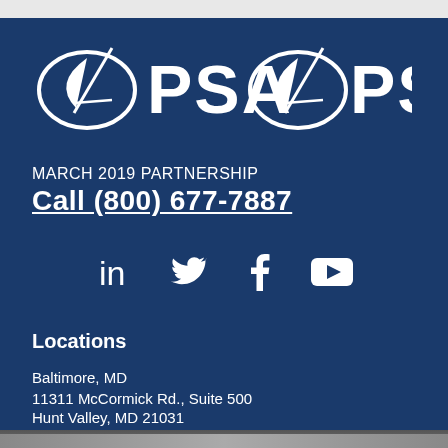[Figure (logo): PSA logo with two sailboat emblems and 'PSA PSA' text in white on dark blue background]
MARCH 2019 PARTNERSHIP
Call (800) 677-7887
[Figure (infographic): Social media icons: LinkedIn, Twitter, Facebook, YouTube]
Locations
Baltimore, MD
11311 McCormick Rd., Suite 500
Hunt Valley, MD 21031